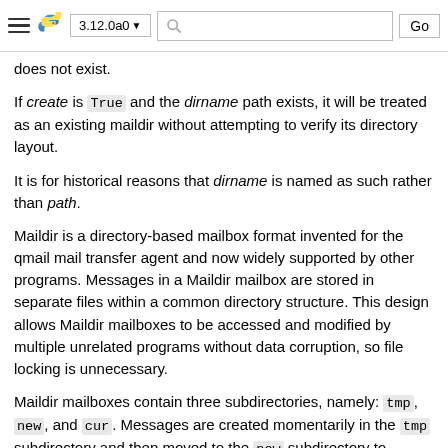3.12.0a0  Go
does not exist.
If create is True and the dirname path exists, it will be treated as an existing maildir without attempting to verify its directory layout.
It is for historical reasons that dirname is named as such rather than path.
Maildir is a directory-based mailbox format invented for the qmail mail transfer agent and now widely supported by other programs. Messages in a Maildir mailbox are stored in separate files within a common directory structure. This design allows Maildir mailboxes to be accessed and modified by multiple unrelated programs without data corruption, so file locking is unnecessary.
Maildir mailboxes contain three subdirectories, namely: tmp, new, and cur. Messages are created momentarily in the tmp subdirectory and then moved to the new subdirectory to finalize delivery. A mail user agent may subsequently move the message to the cur subdirectory and store information about...